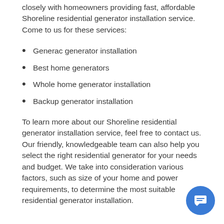closely with homeowners providing fast, affordable Shoreline residential generator installation service. Come to us for these services:
Generac generator installation
Best home generators
Whole home generator installation
Backup generator installation
To learn more about our Shoreline residential generator installation service, feel free to contact us. Our friendly, knowledgeable team can also help you select the right residential generator for your needs and budget. We take into consideration various factors, such as size of your home and power requirements, to determine the most suitable residential generator installation.